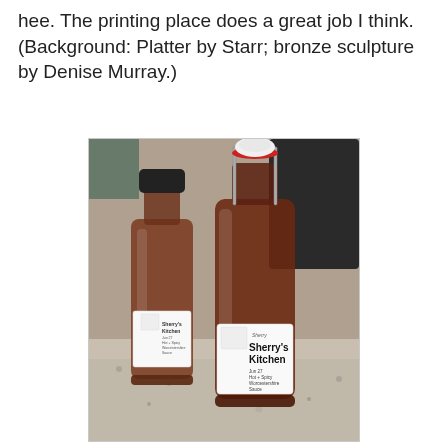hee. The printing place does a great job I think. (Background: Platter by Starr; bronze sculpture by Denise Murray.)
[Figure (photo): Two bottles of Sherry's Kitchen Hot + Spicy Worcestershire Sauce on a granite countertop. Left bottle is smaller with a black cap and a white label. Right bottle is larger with a swing-top (bail closure) with white ceramic stopper and red rubber seal, also bearing a white label reading 'Sherry's Kitchen Jun 27 Hot + Spicy Worcestershire Sauce'.]